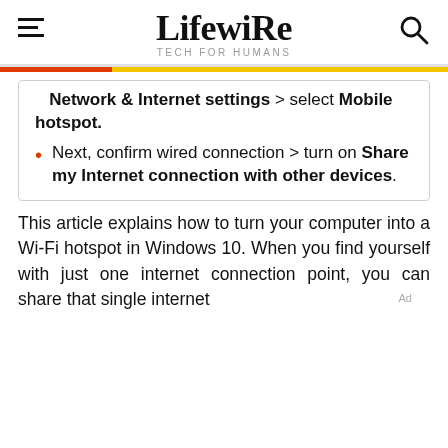Lifewire TECH FOR HUMANS
Network & Internet settings > select Mobile hotspot.
Next, confirm wired connection > turn on Share my Internet connection with other devices.
This article explains how to turn your computer into a Wi-Fi hotspot in Windows 10. When you find yourself with just one internet connection point, you can share that single internet